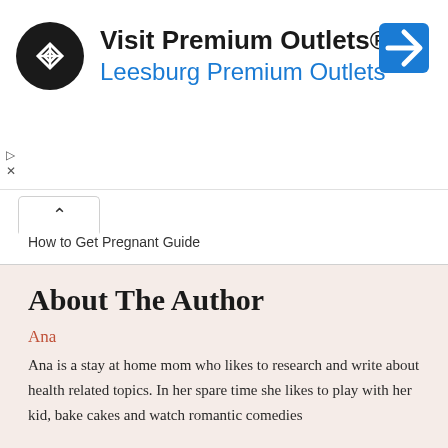[Figure (infographic): Advertisement banner for Visit Premium Outlets® - Leesburg Premium Outlets, with circular black logo containing arrow icon on left and blue diamond navigation icon on right]
How to Get Pregnant Guide
About The Author
Ana
Ana is a stay at home mom who likes to research and write about health related topics. In her spare time she likes to play with her kid, bake cakes and watch romantic comedies